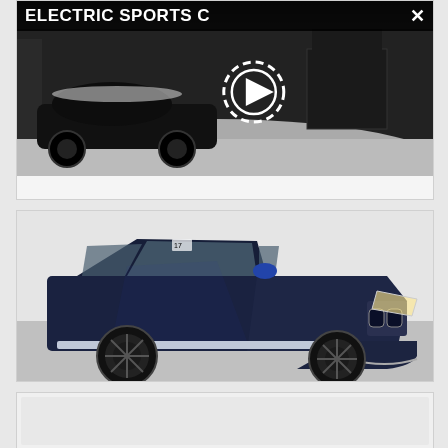[Figure (screenshot): Video thumbnail of a dark car in snow with a play button overlay, and header text 'ELECTRIC SPORTS C X']
[Figure (photo): Photo of a dark navy blue BMW X5 SUV in a showroom or parking area, shot from front-left angle]
[Figure (photo): Partial/loading photo card at the bottom, light gray background]